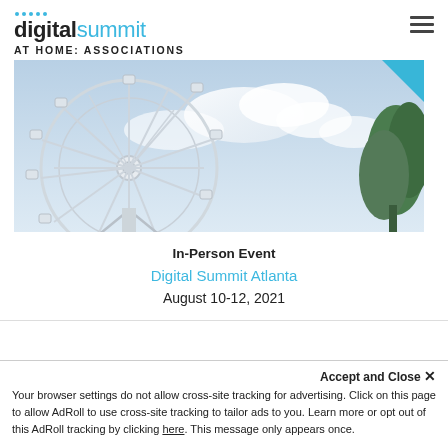digital summit AT HOME: ASSOCIATIONS
[Figure (photo): Ferris wheel viewed from below against a cloudy sky with green trees in the background. Blue triangle accent in top-right corner.]
In-Person Event
Digital Summit Atlanta
August 10-12, 2021
Accept and Close ×
Your browser settings do not allow cross-site tracking for advertising. Click on this page to allow AdRoll to use cross-site tracking to tailor ads to you. Learn more or opt out of this AdRoll tracking by clicking here. This message only appears once.